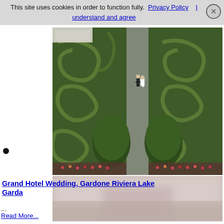This site uses cookies in order to function fully.  Privacy Policy    I understand and agree
[Figure (photo): Aerial view of a formal garden maze with a bride and groom standing on a central path between trimmed hedges]
[Figure (photo): Misty blurred outdoor scene, likely a couple in a soft-focus romantic setting]
Grand Hotel Wedding, Gardone Riviera Lake Garda
...
Read More...
[Figure (photo): A couple kissing, the groom in a dark suit and the bride in a white lace dress with veil, outdoor blurred green background]
[Figure (photo): Partial view of another wedding image at the bottom of the page]